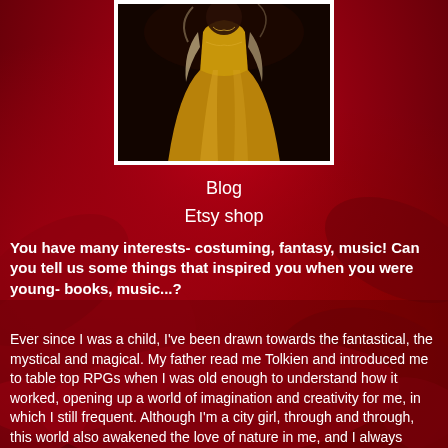[Figure (photo): A person wearing a gold/golden gown or dress, photographed from mid-torso down, against a dark background, displayed in a white-bordered frame over a red rose background]
Blog
Etsy shop
You have many interests- costuming, fantasy, music! Can you tell us some things that inspired you when you were young- books, music...?
Ever since I was a child, I've been drawn towards the fantastical, the mystical and magical. My father read me Tolkien and introduced me to table top RPGs when I was old enough to understand how it worked, opening up a world of imagination and creativity for me, in which I still frequent. Although I'm a city girl, through and through, this world also awakened the love of nature in me, and I always cherish the